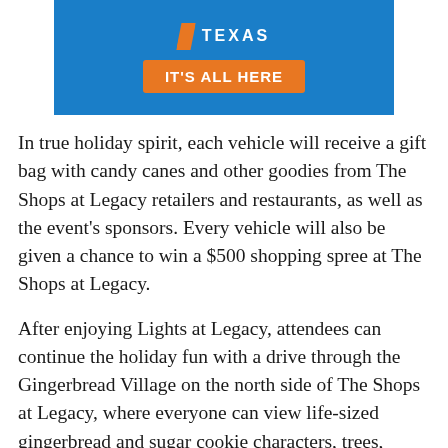[Figure (illustration): Blue advertisement banner for Texas tourism with orange 'IT'S ALL HERE' button and Texas logo]
In true holiday spirit, each vehicle will receive a gift bag with candy canes and other goodies from The Shops at Legacy retailers and restaurants, as well as the event's sponsors. Every vehicle will also be given a chance to win a $500 shopping spree at The Shops at Legacy.
After enjoying Lights at Legacy, attendees can continue the holiday fun with a drive through the Gingerbread Village on the north side of The Shops at Legacy, where everyone can view life-sized gingerbread and sugar cookie characters, trees, candy canes, and snowflakes on colorful facades.
Legacy Hall holiday fon...